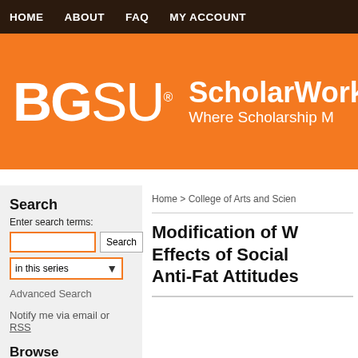HOME  ABOUT  FAQ  MY ACCOUNT
[Figure (logo): BGSU ScholarWorks banner — orange background with BGSU logo in white and ScholarWorks tagline 'Where Scholarship M[eets the World]']
Search
Enter search terms:
in this series [dropdown] Search [button]
Advanced Search
Notify me via email or RSS
Browse
All Collections
Disciplines
Home > College of Arts and Scien[ces]
Modification of W[eight-Based...] Effects of Social [...] Anti-Fat Attitudes[...]